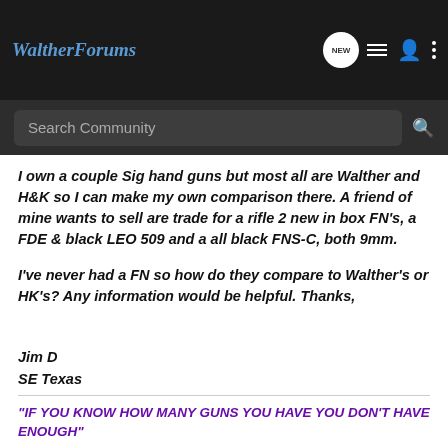WaltherForums
Search Community
I own a couple Sig hand guns but most all are Walther and H&K so I can make my own comparison there. A friend of mine wants to sell are trade for a rifle 2 new in box FN's, a FDE & black LEO 509 and a all black FNS-C, both 9mm.
I've never had a FN so how do they compare to Walther's or HK's? Any information would be helpful. Thanks,
Jim D
SE Texas
"IF YOU KNOW HOW MANY GUNS YOU HAVE YOU DON'T HAVE ENOUGH"